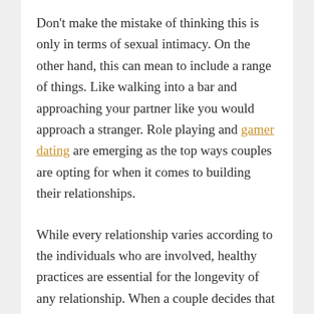Don't make the mistake of thinking this is only in terms of sexual intimacy. On the other hand, this can mean to include a range of things. Like walking into a bar and approaching your partner like you would approach a stranger. Role playing and gamer dating are emerging as the top ways couples are opting for when it comes to building their relationships.
While every relationship varies according to the individuals who are involved, healthy practices are essential for the longevity of any relationship. When a couple decides that they would like to stay together, it is always advised for them to maintain a sense of honesty, openness and